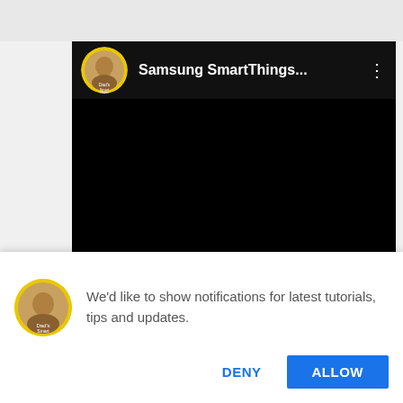[Figure (screenshot): YouTube-style video player showing channel 'Samsung SmartThings...' with a black video frame and channel avatar with user face]
If you want to watch the video version of the this current article then click on the video to your right, Home Security Setup (Part 1).
[Figure (screenshot): Browser notification permission dialog with channel avatar and text 'We'd like to show notifications for latest tutorials, tips and updates.' with DENY and ALLOW buttons]